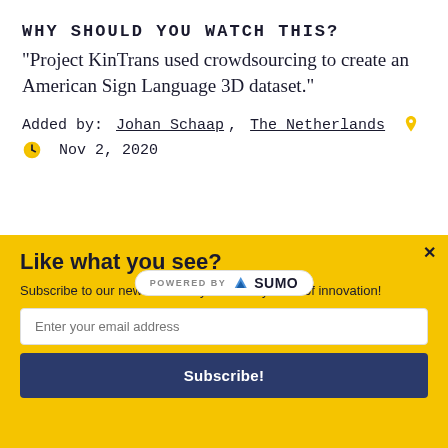WHY SHOULD YOU WATCH THIS?
“Project KinTrans used crowdsourcing to create an American Sign Language 3D dataset.”
Added by: Johan Schaap, The Netherlands 📍
Nov 2, 2020
[Figure (logo): POWERED BY SUMO badge]
Like what you see?
Subscribe to our newsletter for your weekly dose of innovation!
Enter your email address
Subscribe!